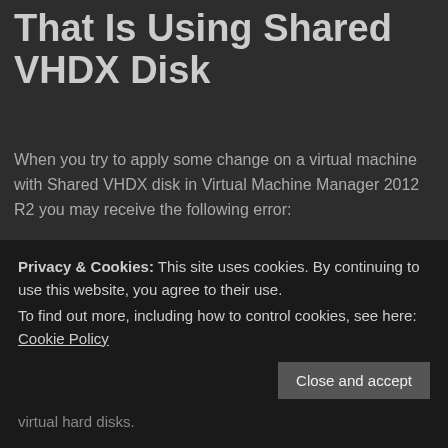That Is Using Shared VHDX Disk
When you try to apply some change on a virtual machine with Shared VHDX disk in Virtual Machine Manager 2012 R2 you may receive the following error:
[Figure (screenshot): Error dialog box from Virtual Machine Manager showing Error (23517): The operation Change properties of virtual machine is not permitted on a virtual machine that has shared virtual hard disks. Recommended Action section repeats the same message. A Copy Errors button is visible at the bottom.]
Privacy & Cookies: This site uses cookies. By continuing to use this website, you agree to their use. To find out more, including how to control cookies, see here: Cookie Policy
virtual hard disks.